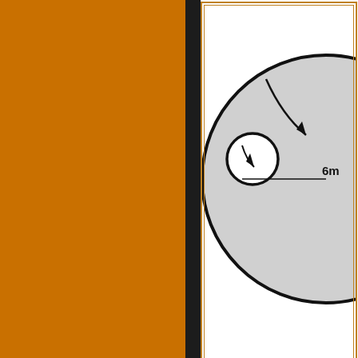[Figure (schematic): Diagram showing crop circle layout with large grey filled circle and two smaller circles with curved arrows indicating rotation directions. A horizontal line with label '6m' extends from the center of the large circle. The diagram is partially cropped at the right edge.]
Diagram of Oct. 19-20, 2006 crop circle and measurements. D...
The next morning early Robber... carefully photographed and me... following photos are all taken by...